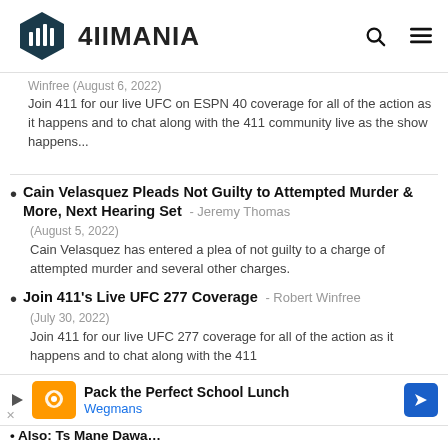4IIMANIA
Winfree (August 6, 2022)
Join 411 for our live UFC on ESPN 40 coverage for all of the action as it happens and to chat along with the 411 community live as the show happens...
Cain Velasquez Pleads Not Guilty to Attempted Murder & More, Next Hearing Set - Jeremy Thomas (August 5, 2022) Cain Velasquez has entered a plea of not guilty to a charge of attempted murder and several other charges.
Join 411's Live UFC 277 Coverage - Robert Winfree (July 30, 2022) Join 411 for our live UFC 277 coverage for all of the action as it happens and to chat along with the 411
[Figure (other): Advertisement banner: Pack the Perfect School Lunch - Wegmans]